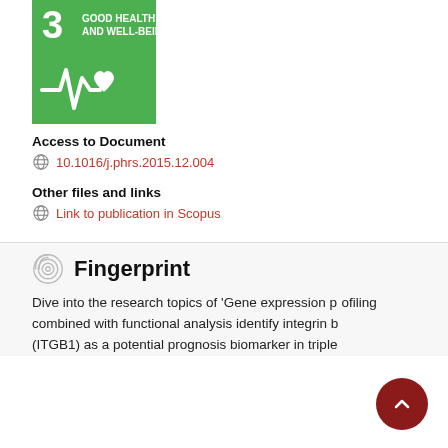[Figure (logo): UN SDG 3 Good Health and Well-Being green badge with heartbeat/heart icon]
Access to Document
10.1016/j.phrs.2015.12.004
Other files and links
Link to publication in Scopus
Fingerprint
Dive into the research topics of 'Gene expression profiling combined with functional analysis identify integrin beta 1 (ITGB1) as a potential prognosis biomarker in triple